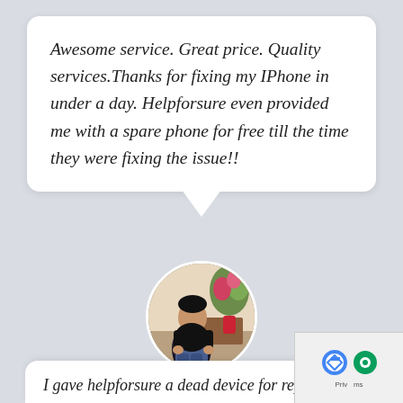Awesome service. Great price. Quality services.Thanks for fixing my IPhone in under a day. Helpforsure even provided me with a spare phone for free till the time they were fixing the issue!!
[Figure (photo): Circular profile photo of a man in a black shirt standing in a room with flowers in the background]
Sandeep
Sandeep|IPhone 6 customer Kormangala - Bangalore
I gave helpforsure a dead device for repair. When